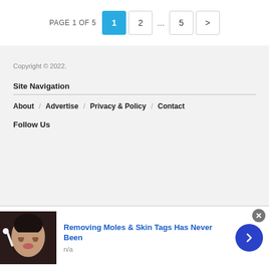PAGE 1 OF 5  1  2  ...  5  >
Copyright © 2022.
Site Navigation
About  /  Advertise  /  Privacy & Policy  /  Contact
Follow Us
Removing Moles & Skin Tags Has Never Been
n/a